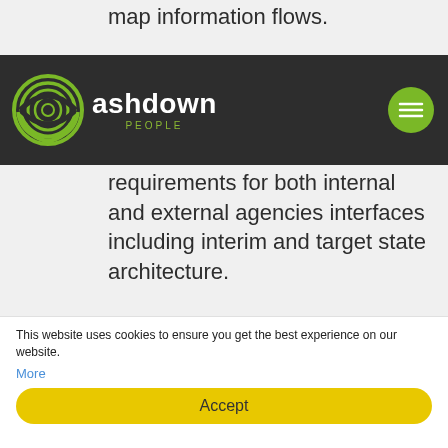map information flows.
[Figure (logo): Ashdown People logo with green fingerprint icon and white text on dark navbar]
requirements for both internal and external agencies interfaces including interim and target state architecture.
Work with business stakeholders to identify requirements to support current and target state business processes.
Ability to dissect information based on classification levels with an
This website uses cookies to ensure you get the best experience on our website. More
Accept